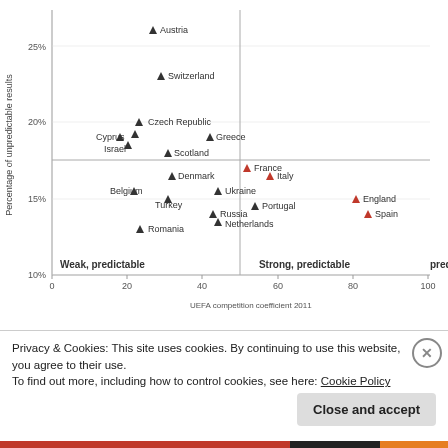[Figure (scatter-plot): Scatter plot showing percentage of unpredictable results (y-axis, 10%-27%) vs UEFA competition coefficient 2011 (x-axis, 0-100) for various European football leagues. Red/highlighted dots: France, Italy, England, Spain. Dark dots: all others. Horizontal reference line at ~17.5%. Vertical reference line at x~50. Labels: Weak predictable (bottom left), Strong predictable (bottom right).]
Privacy & Cookies: This site uses cookies. By continuing to use this website, you agree to their use.
To find out more, including how to control cookies, see here: Cookie Policy